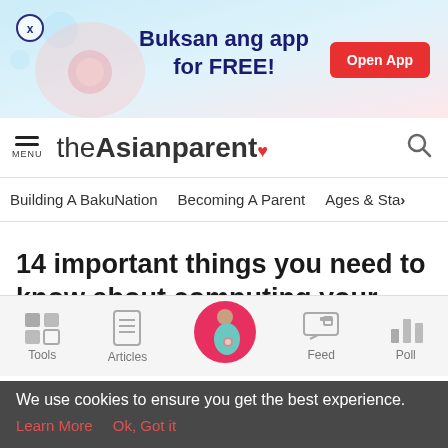[Figure (screenshot): App advertisement banner with pregnancy illustration, text 'Buksan ang app for FREE!' and red 'Open App' button]
theAsianparent
Building A BakuNation   Becoming A Parent   Ages & Sta>
14 important things you need to know about computing your Meralco Bill
[Figure (screenshot): Bottom navigation bar with Tools, Articles, home (pregnant woman icon), Feed, and Poll icons]
We use cookies to ensure you get the best experience.
Learn More   Ok, Got it